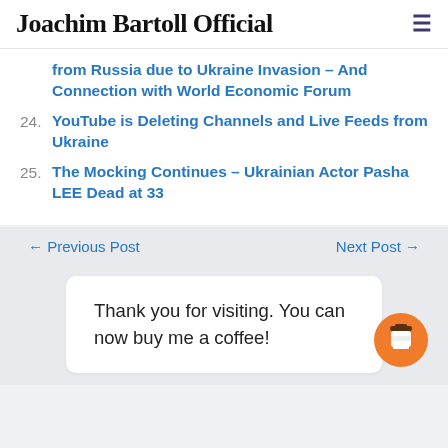Joachim Bartoll Official
from Russia due to Ukraine Invasion – And Connection with World Economic Forum
24. YouTube is Deleting Channels and Live Feeds from Ukraine
25. The Mocking Continues – Ukrainian Actor Pasha LEE Dead at 33
← Previous Post    Next Post →
Thank you for visiting. You can now buy me a coffee!